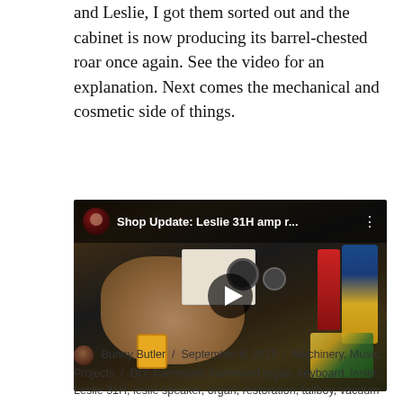and Leslie, I got them sorted out and the cabinet is now producing its barrel-chested roar once again. See the video for an explanation. Next comes the mechanical and cosmetic side of things.
[Figure (screenshot): Embedded YouTube video thumbnail showing a workshop scene with a hand holding electronic connectors/components on a workbench with various tools and cans visible. Title bar reads 'Shop Update: Leslie 31H amp r...' with a channel avatar and three-dot menu.]
Bunny Butler / September 8, 2019 / Machinery, Music, Projects / DIY, hammond, hammond organ, keyboard, leslie, Leslie 31H, leslie speaker, organ, restoration, tallboy, vacuum tube, vintage